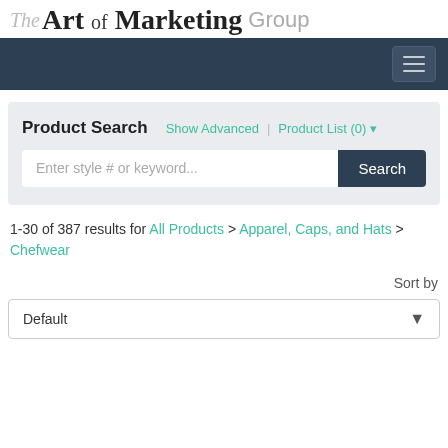[Figure (logo): The Art of Marketing Group logo]
[Figure (screenshot): Dark navy navigation bar with hamburger menu button]
Product Search
Show Advanced | Product List (0)
Enter style # or keyword... Search
1-30 of 387 results for All Products > Apparel, Caps, and Hats > Chefwear
Sort by
Default